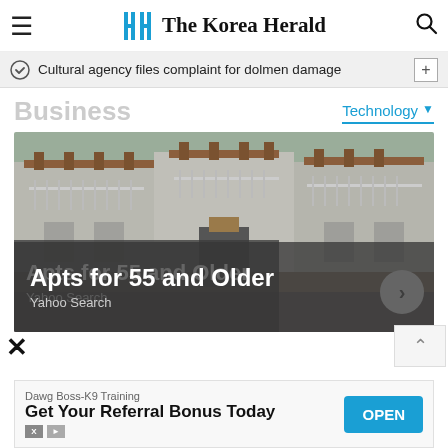The Korea Herald
Cultural agency files complaint for dolmen damage
Business
Technology
[Figure (photo): Apartment building exterior with wooden balcony railings, stone accents, and multi-level terraces. Advertisement overlay reads: Apts for 55 and Older — Yahoo Search]
Dawg Boss-K9 Training
Get Your Referral Bonus Today
OPEN